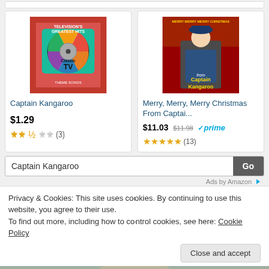[Figure (screenshot): Amazon product card: Television's Greatest Hits Classic TV Theme Songs album cover - pink/red background with colorful CD graphic]
Captain Kangaroo
$1.29
2.5 stars (3)
[Figure (screenshot): Amazon product card: Merry Merry Merry Christmas From Captain Kangaroo album cover - red background with Captain Kangaroo character]
Merry, Merry, Merry Christmas From Captai...
$11.03 $11.98 prime
5 stars (13)
Captain Kangaroo
Go
Ads by Amazon
Privacy & Cookies: This site uses cookies. By continuing to use this website, you agree to their use.
To find out more, including how to control cookies, see here: Cookie Policy
Close and accept